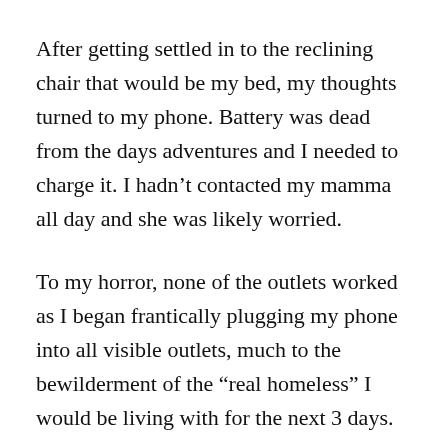After getting settled in to the reclining chair that would be my bed, my thoughts turned to my phone. Battery was dead from the days adventures and I needed to charge it. I hadn't contacted my mamma all day and she was likely worried.
To my horror, none of the outlets worked as I began frantically plugging my phone into all visible outlets, much to the bewilderment of the “real homeless” I would be living with for the next 3 days.
Out of pity, a few of the guys helped me out and we eventually found a working charger. Out of gratitude, I offered them “my precious,” a mostly eaten jar of peanut butter.